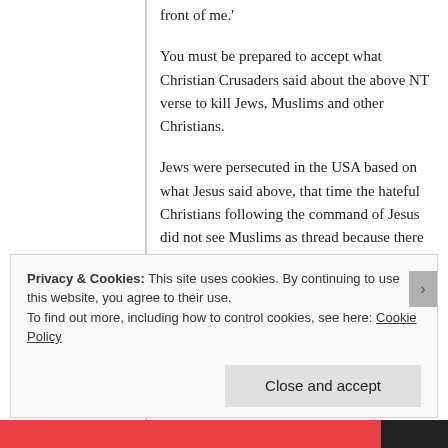front of me.'
You must be prepared to accept what Christian Crusaders said about the above NT verse to kill Jews, Muslims and other Christians.
Jews were persecuted in the USA based on what Jesus said above, that time the hateful Christians following the command of Jesus did not see Muslims as thread because there were not converting Christians. Then the Protestant Christians started murdering their own Roman Catholics in the USA. They campaign to stop president Kennedy, a Roman Catholic from becoming a president and eventually murdered.
Privacy & Cookies: This site uses cookies. By continuing to use this website, you agree to their use.
To find out more, including how to control cookies, see here: Cookie Policy
Close and accept